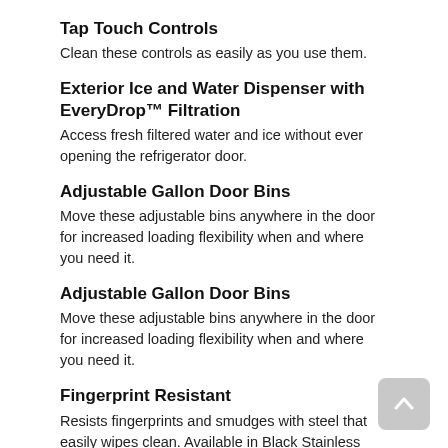Tap Touch Controls
Clean these controls as easily as you use them.
Exterior Ice and Water Dispenser with EveryDrop™ Filtration
Access fresh filtered water and ice without ever opening the refrigerator door.
Adjustable Gallon Door Bins
Move these adjustable bins anywhere in the door for increased loading flexibility when and where you need it.
Adjustable Gallon Door Bins
Move these adjustable bins anywhere in the door for increased loading flexibility when and where you need it.
Fingerprint Resistant
Resists fingerprints and smudges with steel that easily wipes clean. Available in Black Stainless Steel and Stainless Steel finishes.
Fingerprint Resistant
Resists fingerprints and smudges with steel that easily wipes clean. Available in Black Stainless Steel and